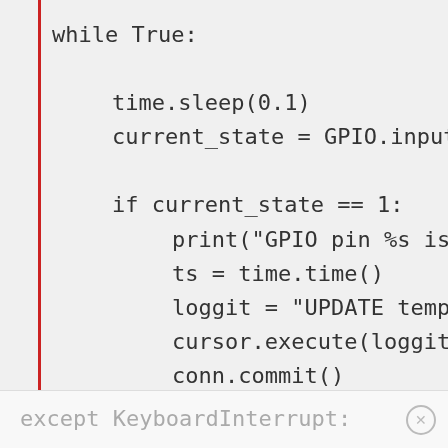[Figure (screenshot): Code editor screenshot showing Python code with a red vertical bar on the left. Code includes a while True loop with time.sleep, GPIO.input, conditional check, print, ts = time.time(), loggit assignment, cursor.execute, conn.commit, and time.sleep calls.]
except KeyboardInterrupt: